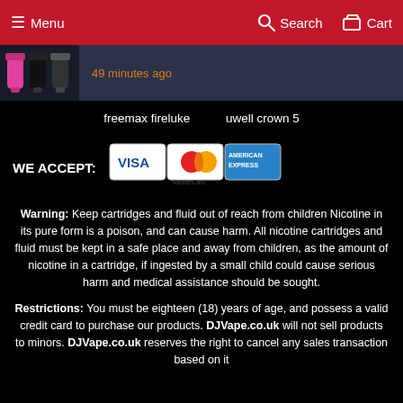Menu  Search  Cart
49 minutes ago
freemax fireluke   uwell crown 5
WE ACCEPT:
[Figure (illustration): Payment card logos: Visa, MasterCard, American Express]
Warning: Keep cartridges and fluid out of reach from children Nicotine in its pure form is a poison, and can cause harm. All nicotine cartridges and fluid must be kept in a safe place and away from children, as the amount of nicotine in a cartridge, if ingested by a small child could cause serious harm and medical assistance should be sought.
Restrictions: You must be eighteen (18) years of age, and possess a valid credit card to purchase our products. DJVape.co.uk will not sell products to minors. DJVape.co.uk reserves the right to cancel any sales transaction based on it